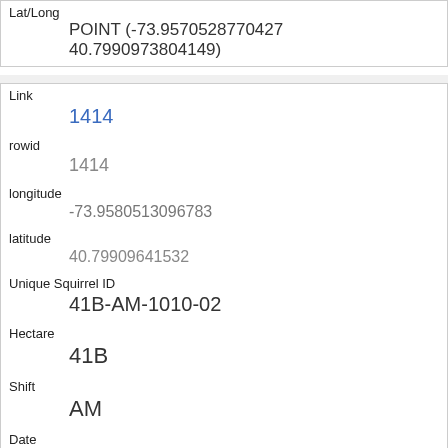| Lat/Long | POINT (-73.9570528770427 40.7990973804149) |
| Link | 1414 |
| rowid | 1414 |
| longitude | -73.9580513096783 |
| latitude | 40.79909641532 |
| Unique Squirrel ID | 41B-AM-1010-02 |
| Hectare | 41B |
| Shift | AM |
| Date | 10102018 |
| Hectare Squirrel Number |  |